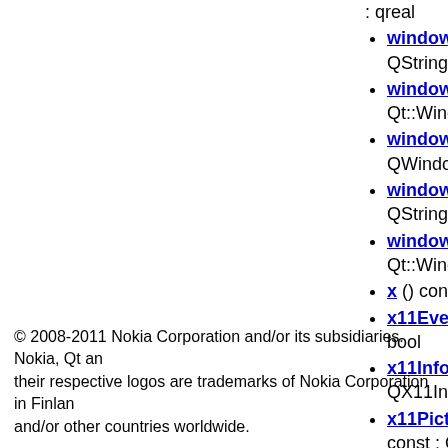windowOpacity () const : qreal
windowRole () const : QString
windowState () const : Qt::WindowStates
windowSurface () const : QWindowSurface *
windowTitle () const : QString
windowType () const : Qt::WindowType
x () const : int
x11Event ( XEvent * ) : bool
x11Info () const : const QX11Info &
x11PictureHandle () const : Qt::HANDLE
y () const : int
© 2008-2011 Nokia Corporation and/or its subsidiaries. Nokia, Qt and their respective logos are trademarks of Nokia Corporation in Finland and/or other countries worldwide.